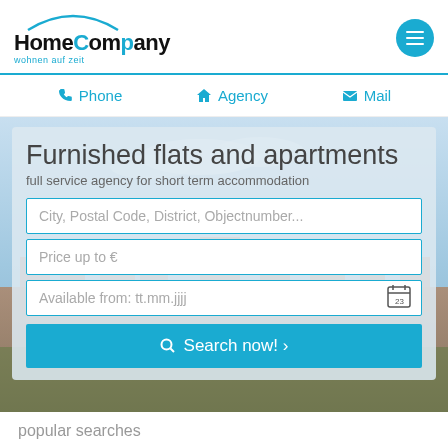[Figure (logo): HomeCompany logo with blue arc and subtitle 'wohnen auf zeit']
Phone  Agency  Mail
[Figure (screenshot): City panorama hero background image]
Furnished flats and apartments
full service agency for short term accommodation
City, Postal Code, District, Objectnumber...
Price up to €
Available from: tt.mm.jjjj
Search now! ›
popular searches